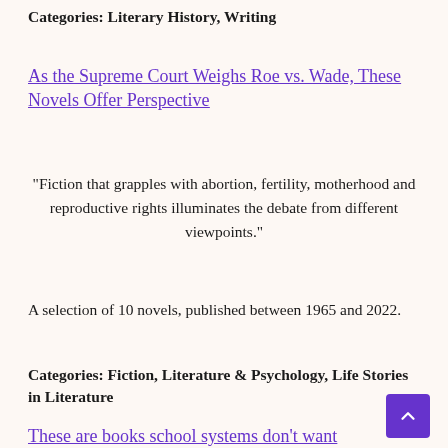Categories: Literary History, Writing
As the Supreme Court Weighs Roe vs. Wade, These Novels Offer Perspective
“Fiction that grapples with abortion, fertility, motherhood and reproductive rights illuminates the debate from different viewpoints.”
A selection of 10 novels, published between 1965 and 2022.
Categories: Fiction, Literature & Psychology, Life Stories in Literature
These are books school systems don’t want